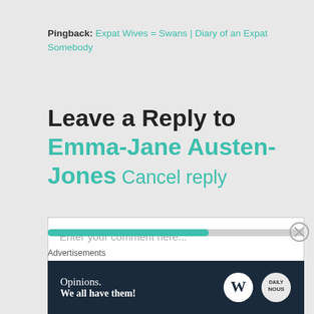Pingback: Expat Wives = Swans | Diary of an Expat Somebody
Leave a Reply to Emma-Jane Austen-Jones Cancel reply
Enter your comment here...
[Figure (infographic): Progress bar showing partial completion in teal/green color, with a close/dismiss button (X) on the right]
Advertisements
[Figure (infographic): Dark navy advertisement banner with text 'Opinions. We all have them!' and WordPress and another circular logo on the right]